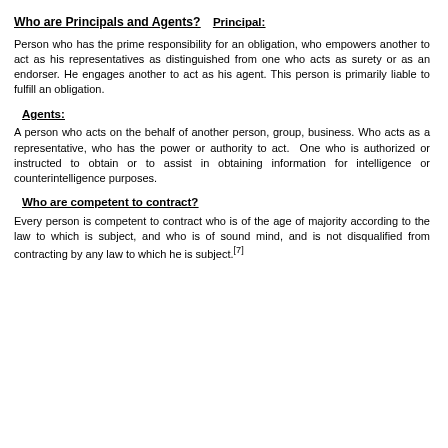Who are Principals and Agents?
Principal:
Person who has the prime responsibility for an obligation, who empowers another to act as his representatives as distinguished from one who acts as surety or as an endorser. He engages another to act as his agent. This person is primarily liable to fulfill an obligation.
Agents:
A person who acts on the behalf of another person, group, business. Who acts as a representative, who has the power or authority to act.  One who is authorized or instructed to obtain or to assist in obtaining information for intelligence or counterintelligence purposes.
Who are competent to contract?
Every person is competent to contract who is of the age of majority according to the law to which is subject, and who is of sound mind, and is not disqualified from contracting by any law to which he is subject.[7]